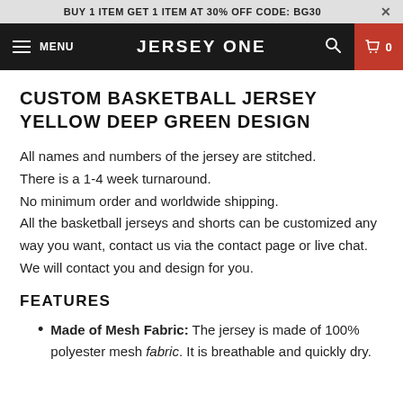BUY 1 ITEM GET 1 ITEM AT 30% OFF CODE: BG30
JERSEY ONE
CUSTOM BASKETBALL JERSEY YELLOW DEEP GREEN DESIGN
All names and numbers of the jersey are stitched. There is a 1-4 week turnaround. No minimum order and worldwide shipping. All the basketball jerseys and shorts can be customized any way you want, contact us via the contact page or live chat. We will contact you and design for you.
FEATURES
Made of Mesh Fabric: The jersey is made of 100% polyester mesh fabric. It is breathable and quickly dry.